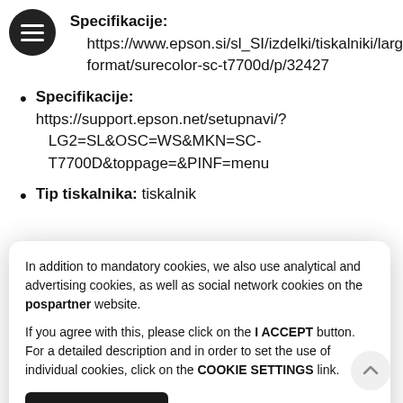Specifikacije: https://www.epson.si/sl_SI/izdelki/tiskalniki/large-format/surecolor-sc-t7700d/p/32427
Specifikacije: https://support.epson.net/setupnavi/?LG2=SL&OSC=WS&MKN=SC-T7700D&toppage=&PINF=menu
Tip tiskalnika: tiskalnik
In addition to mandatory cookies, we also use analytical and advertising cookies, as well as social network cookies on the pospartner website.

If you agree with this, please click on the I ACCEPT button. For a detailed description and in order to set the use of individual cookies, click on the COOKIE SETTINGS link.
d'č'tauilo kartudič: 6